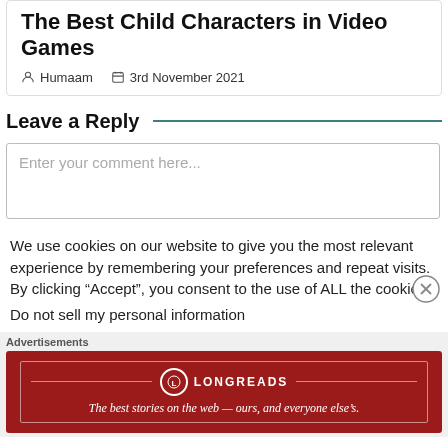The Best Child Characters in Video Games
Humaam   3rd November 2021
Leave a Reply
Enter your comment here...
We use cookies on our website to give you the most relevant experience by remembering your preferences and repeat visits. By clicking “Accept”, you consent to the use of ALL the cookies.
Do not sell my personal information
Advertisements
[Figure (screenshot): Longreads advertisement banner: red background with Longreads logo and tagline 'The best stories on the web — ours, and everyone else’s.']